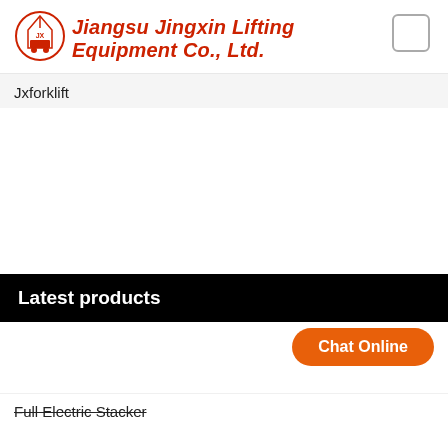[Figure (logo): Jiangsu Jingxin Lifting Equipment Co., Ltd. company logo - circular emblem with crane/lifting equipment imagery]
Jiangsu Jingxin Lifting Equipment Co., Ltd.
[Figure (other): Small checkbox/square UI element in upper right corner]
Jxforklift
Latest products
Chat Online
Full Electric Stacker